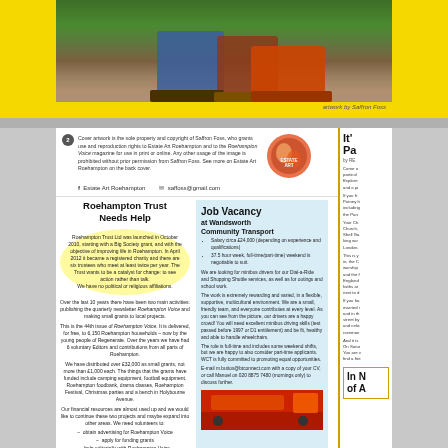[Figure (photo): Painting/illustration showing children's legs and shoes on grass, artwork by Saffron Foss]
artwork by Saffron Foss
Cover artwork is the sole property and copyright of Saffron Foss, who grants use and reproduction rights to Estate Art Roehampton and to the Roehampton Voice magazine for use in print or online. Any other usage of the image is prohibited without prior permission from Saffron Foss. See more on Estate Art Roehampton on the back cover.
f  Estate Art Roehampton    ✉  saffoss@gmail.com
Roehampton Trust Needs Help
Roehampton Trust Ltd was launched in October 2010, starting with a Big Society grant, and with the objective of improving life in Roehampton. In April 2012 it became a registered charity and there are six trustees who meet at least twice per year. The Trust wants to be a catalyst for change: to see action rather than talk. We have no political or religious affiliations.
Over the last 10 years there have been two main activities: publishing the quarterly newsletter Roehampton Voice and making small grants to local projects.
This is the 44th issue of Roehampton Voice. It is delivered, for free, to 6,150 Roehampton households – now by the young people of Regenerate. Over the years we have had 6 voluntary Editors and contributions from all parts of Roehampton.
We have distributed over £32,000 as small grants, not more than £1,000 each. The things that the grants have funded include camping equipment, football equipment, Roehampton foodbank, drama classes, Roehampton Festival, Christmas parties and a bench in Holybourne Avenue.
Our financial resources are almost used up and we would like to continue these two projects and maybe expand into other areas. We need volunteers to:
obtain advertising for Roehampton Voice
apply for funding grants
help editorially with Roehampton Voice
provide administrative support
Job Vacancy at Wandsworth Community Transport
Salary circa £24,000 (depending on experience and qualifications)
37.5 hour week, full-time/part-time) weekend is negotiable to suit.
We are looking for minibus drivers for our Dial-a-Ride and Shopping Shuttle services, as well as for outings and school work.
The work is extremely rewarding and varied, in a flexible, supportive, multicultural environment. We are a small, friendly team, and everyone contributes at every level. As you can see from the picture, our drivers are a happy crowd! You will need excellent minibus driving skills (test passed before 1997 or D1 entitlement) and be fit, healthy and able to handle wheelchairs.
The role is full-time and includes some weekend shifts, but we are happy to also consider part-time applicants. WCT is fully committed to promoting equal opportunities.
E-mail m.buttos@btconnect.com with a copy of your CV, or call Manuel on 020 8875 7480 (mornings only) to discuss further.
[Figure (photo): Red minibus/community transport vehicle]